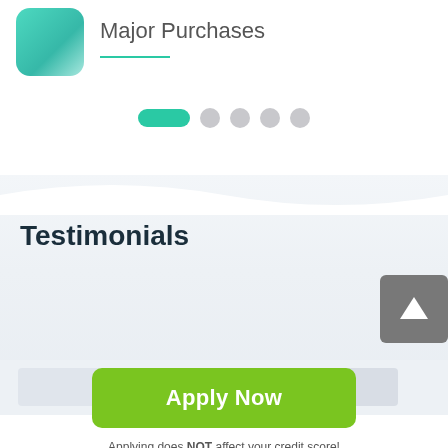Major Purchases
[Figure (infographic): Carousel pagination dots: one active green pill followed by four grey circular dots]
Testimonials
[Figure (infographic): Scroll to top button: grey square button with white upward arrow]
Apply Now
Applying does NOT affect your credit score!
No credit check to apply.